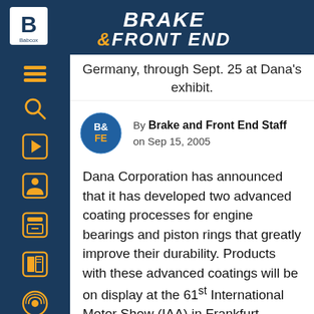BRAKE & FRONT END
International Motor Show (IAA) in Frankfurt, Germany, through Sept. 25 at Dana's exhibit.
By Brake and Front End Staff on Sep 15, 2005
Dana Corporation has announced that it has developed two advanced coating processes for engine bearings and piston rings that greatly improve their durability. Products with these advanced coatings will be on display at the 61st International Motor Show (IAA) in Frankfurt, Germany, through Sept. 25 at Dana's exhibit.